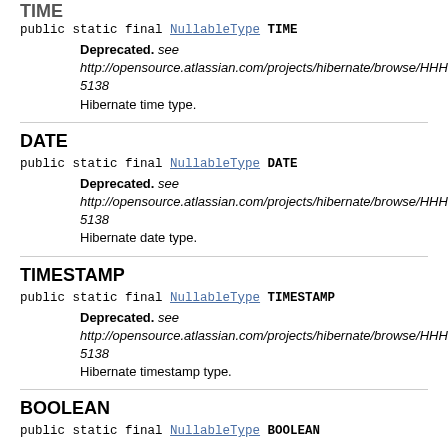TIME
public static final NullableType TIME
Deprecated. see http://opensource.atlassian.com/projects/hibernate/browse/HHH-5138
Hibernate time type.
DATE
public static final NullableType DATE
Deprecated. see http://opensource.atlassian.com/projects/hibernate/browse/HHH-5138
Hibernate date type.
TIMESTAMP
public static final NullableType TIMESTAMP
Deprecated. see http://opensource.atlassian.com/projects/hibernate/browse/HHH-5138
Hibernate timestamp type.
BOOLEAN
public static final NullableType BOOLEAN